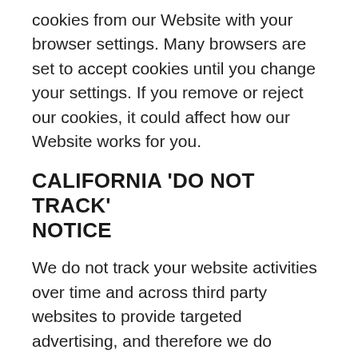cookies from our Website with your browser settings. Many browsers are set to accept cookies until you change your settings. If you remove or reject our cookies, it could affect how our Website works for you.
CALIFORNIA 'DO NOT TRACK' NOTICE
We do not track your website activities over time and across third party websites to provide targeted advertising, and therefore we do respond to Do Not Track (DNT) signals.